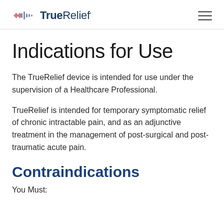TrueRelief
Indications for Use
The TrueRelief device is intended for use under the supervision of a Healthcare Professional.
TrueRelief is intended for temporary symptomatic relief of chronic intractable pain, and as an adjunctive treatment in the management of post-surgical and post-traumatic acute pain.
Contraindications
You Must: